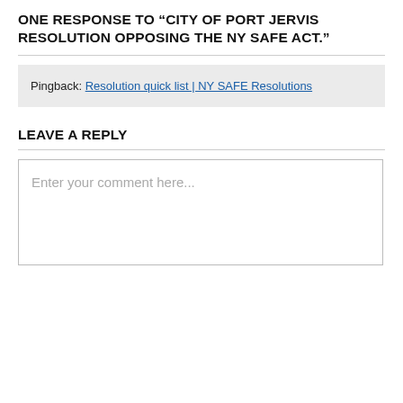ONE RESPONSE TO “CITY OF PORT JERVIS RESOLUTION OPPOSING THE NY SAFE ACT.”
Pingback: Resolution quick list | NY SAFE Resolutions
LEAVE A REPLY
Enter your comment here...